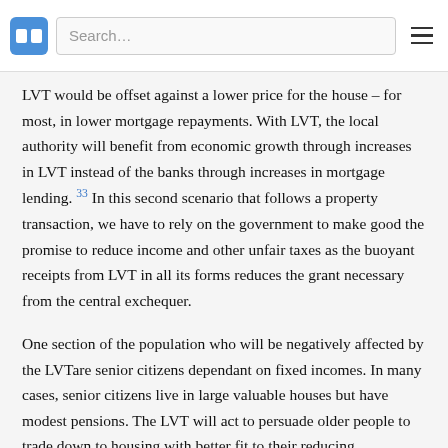Search…
LVT would be offset against a lower price for the house – for most, in lower mortgage repayments. With LVT, the local authority will benefit from economic growth through increases in LVT instead of the banks through increases in mortgage lending. 33 In this second scenario that follows a property transaction, we have to rely on the government to make good the promise to reduce income and other unfair taxes as the buoyant receipts from LVT in all its forms reduces the grant necessary from the central exchequer.
One section of the population who will be negatively affected by the LVTare senior citizens dependant on fixed incomes. In many cases, senior citizens live in large valuable houses but have modest pensions. The LVT will act to persuade older people to trade down to housing with better fit to their reducing